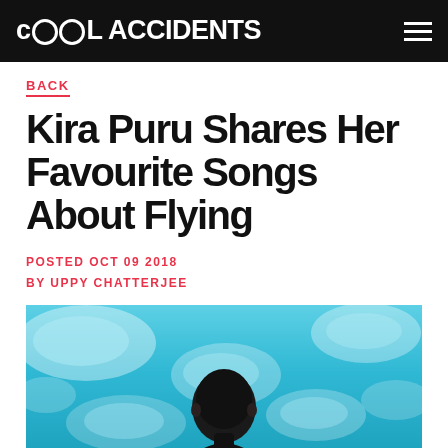COOL ACCIDENTS
BACK
Kira Puru Shares Her Favourite Songs About Flying
POSTED OCT 09 2018
BY UPPY CHATTERJEE
[Figure (photo): Photo of Kira Puru in front of a turquoise blue swimming pool water background, dark hair, looking directly at camera]